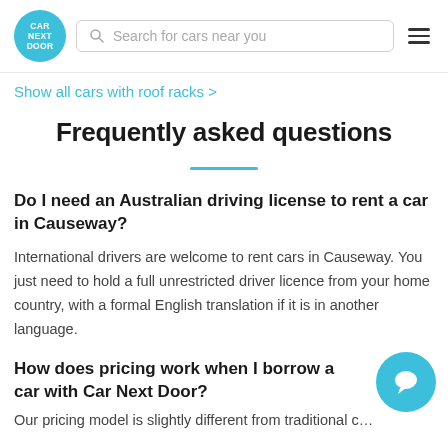[Figure (logo): Car Next Door logo - teal circle with white text CAR NEXT DOOR]
Search for cars near you
Show all cars with roof racks >
Frequently asked questions
Do I need an Australian driving license to rent a car in Causeway?
International drivers are welcome to rent cars in Causeway. You just need to hold a full unrestricted driver licence from your home country, with a formal English translation if it is in another language.
How does pricing work when I borrow a car with Car Next Door?
Our pricing model is slightly different from traditional c...